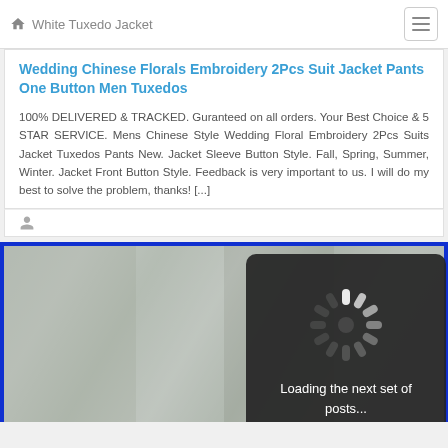White Tuxedo Jacket
Wedding Chinese Florals Embroidery 2Pcs Suit Jacket Pants One Button Men Tuxedos
100% DELIVERED & TRACKED. Guranteed on all orders. Your Best Choice & 5 STAR SERVICE. Mens Chinese Style Wedding Floral Embroidery 2Pcs Suits Jacket Tuxedos Pants New. Jacket Sleeve Button Style. Fall, Spring, Summer, Winter. Jacket Front Button Style. Feedback is very important to us. I will do my best to solve the problem, thanks! [...]
[Figure (screenshot): Loading spinner overlay with dark rounded rectangle showing a spinning loader graphic and text 'Loading the next set of posts...' over a blurred photo of white tuxedo jackets with blue border]
[Figure (photo): Blurred image of white tuxedo jackets on display with a blue border frame]